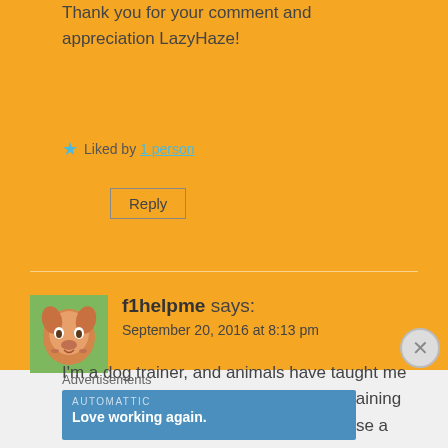Thank you for your comment and appreciation LazyHaze!
★ Liked by 1 person
Reply
f1helpme says:
September 20, 2016 at 8:13 pm
I'm a dog trainer, and animals have taught me the most about silence. I use positive training techniques based on reinforcement. I use a
Advertisements
AUTOMATTIC
Love working again.